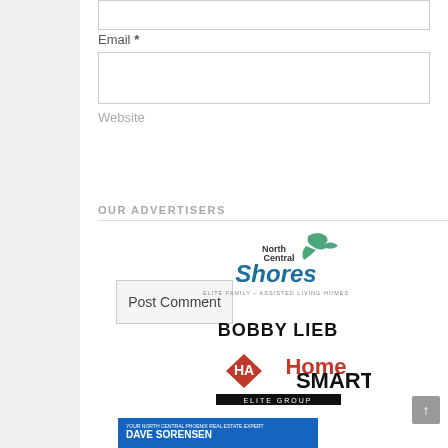Email *
Website
Post Comment
OUR ADVERTISERS
[Figure (logo): North Central Shores — Elite Family – Assisted Living Homes logo with green heron bird graphic and teal/blue text]
[Figure (logo): Bobby Lieb HomeSmart Elite Group logo with red diamond HA symbol]
[Figure (logo): Dave Sorensen Real Estate advertisement card with photo]